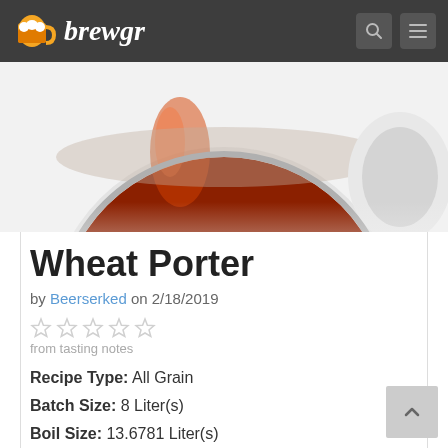brewgr
[Figure (illustration): Partial view of a beer mug icon with dark reddish-brown beer, white foam/handle, on white background]
Wheat Porter
by Beerserked on 2/18/2019
[Figure (other): Five empty/unfilled star rating icons in light gray]
from tasting notes
Recipe Type: All Grain
Batch Size: 8 Liter(s)
Boil Size: 13.6781 Liter(s)
Boil Time: 60 min